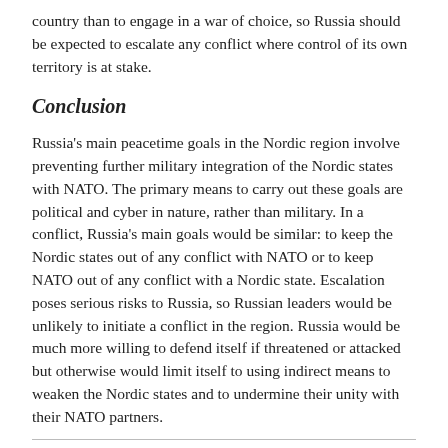country than to engage in a war of choice, so Russia should be expected to escalate any conflict where control of its own territory is at stake.
Conclusion
Russia's main peacetime goals in the Nordic region involve preventing further military integration of the Nordic states with NATO. The primary means to carry out these goals are political and cyber in nature, rather than military. In a conflict, Russia's main goals would be similar: to keep the Nordic states out of any conflict with NATO or to keep NATO out of any conflict with a Nordic state. Escalation poses serious risks to Russia, so Russian leaders would be unlikely to initiate a conflict in the region. Russia would be much more willing to defend itself if threatened or attacked but otherwise would limit itself to using indirect means to weaken the Nordic states and to undermine their unity with their NATO partners.